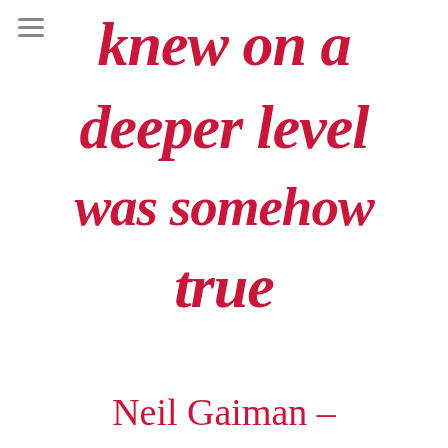[Figure (other): Hamburger menu icon (three horizontal lines) in top-left corner]
knew on a deeper level was somehow true
Neil Gaiman –